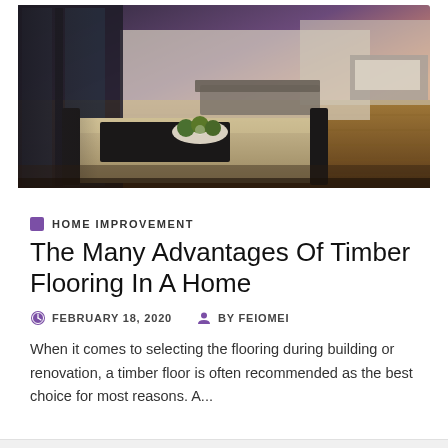[Figure (photo): Interior photo of a modern luxury home with timber flooring, dining table in foreground, open-plan living area with large windows showing a dusk/sunset sky in the background]
HOME IMPROVEMENT
The Many Advantages Of Timber Flooring In A Home
FEBRUARY 18, 2020   BY FEIOMEI
When it comes to selecting the flooring during building or renovation, a timber floor is often recommended as the best choice for most reasons. A...